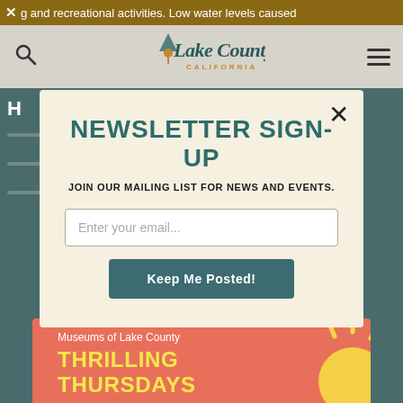× g and recreational activities. Low water levels caused
[Figure (logo): Lake County California logo with mountain/pin icon and stylized script text]
NEWSLETTER SIGN-UP
JOIN OUR MAILING LIST FOR NEWS AND EVENTS.
Enter your email...
Keep Me Posted!
Museums of Lake County
THRILLING THURSDAYS